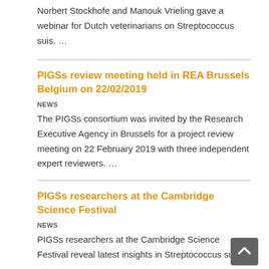Norbert Stockhofe and Manouk Vrieling gave a webinar for Dutch veterinarians on Streptococcus suis. …
PIGSs review meeting held in REA Brussels Belgium on 22/02/2019
NEWS
The PIGSs consortium was invited by the Research Executive Agency in Brussels for a project review meeting on 22 February 2019 with three independent expert reviewers. …
PIGSs researchers at the Cambridge Science Festival
NEWS
PIGSs researchers at the Cambridge Science Festival reveal latest insights in Streptococcus suis....